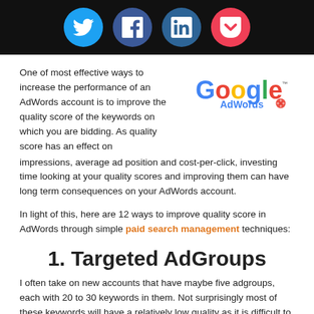[Figure (infographic): Social media share icons: Twitter (blue), Facebook (blue), LinkedIn (dark blue), Pocket (red) in circular buttons on a black header bar]
One of most effective ways to increase the performance of an AdWords account is to improve the quality score of the keywords on which you are bidding. As quality score has an effect on impressions, average ad position and cost-per-click, investing time looking at your quality scores and improving them can have long term consequences on your AdWords account.
[Figure (logo): Google AdWords logo]
In light of this, here are 12 ways to improve quality score in AdWords through simple paid search management techniques:
1. Targeted AdGroups
I often take on new accounts that have maybe five adgroups, each with 20 to 30 keywords in them. Not surprisingly most of these keywords will have a relatively low quality as it is difficult to